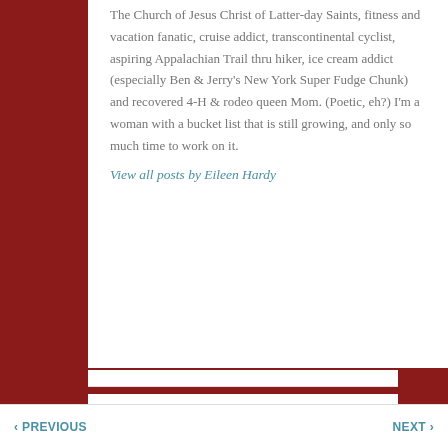The Church of Jesus Christ of Latter-day Saints, fitness and vacation fanatic, cruise addict, transcontinental cyclist, aspiring Appalachian Trail thru hiker, ice cream addict (especially Ben & Jerry's New York Super Fudge Chunk) and recovered 4-H & rodeo queen Mom. (Poetic, eh?) I'm a woman with a bucket list that is still growing, and only so much time to work on it.
View all posts by Eileen Hardy
‹ PREVIOUS    NEXT ›